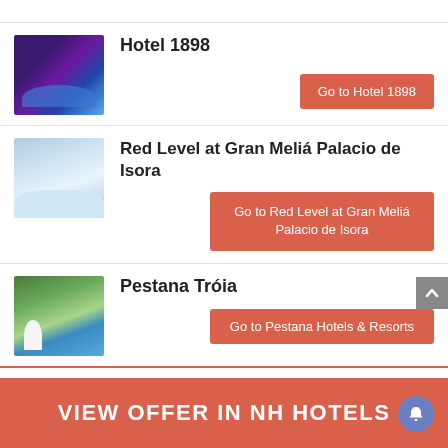[Figure (photo): Hotel 1898 pool with purple lighting in arched interior]
Hotel 1898
Go to Hotel 1898
[Figure (photo): Red Level at Gran Meliá Palacio de Isora pool with sea view]
Red Level at Gran Meliá Palacio de Isora
Go to Red Level at Gran Meliá Palacio de Isora
[Figure (photo): Pestana Tróia resort pool area with umbrella and lounge chairs]
Pestana Tróia
Go to Pestana Hotels & Resorts
VIEW OFFER IN NH HOTELS